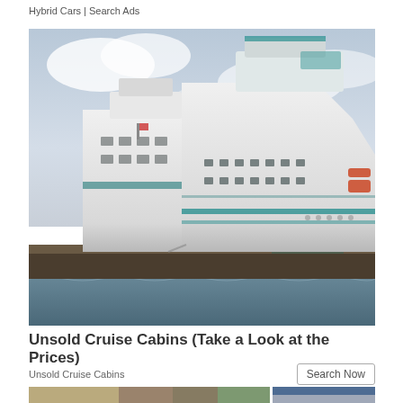Hybrid Cars | Search Ads
[Figure (photo): A large white cruise ship docked at a port, viewed from a low angle. The ship has multiple decks, teal/green accent stripes, and is moored beside a dock with palm trees and a clear blue sky with clouds in the background.]
Unsold Cruise Cabins (Take a Look at the Prices)
Unsold Cruise Cabins
Search Now
[Figure (photo): Bottom strip showing two partial images: left shows a building with greenery, right shows a blue/grey background, partially visible.]